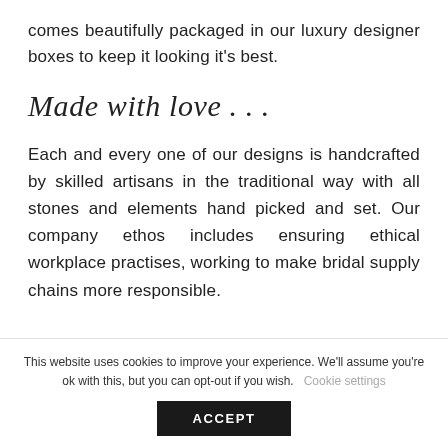comes beautifully packaged in our luxury designer boxes to keep it looking it's best.
Made with love . . .
Each and every one of our designs is handcrafted by skilled artisans in the traditional way with all stones and elements hand picked and set. Our company ethos includes ensuring ethical workplace practises, working to make bridal supply chains more responsible.
This website uses cookies to improve your experience. We'll assume you're ok with this, but you can opt-out if you wish.
Cookie settings
ACCEPT